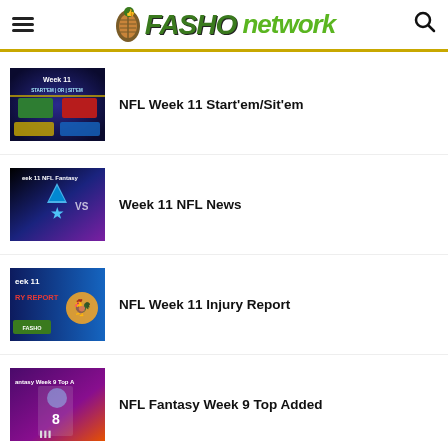Fasho Network
NFL Week 11 Start'em/Sit'em
Week 11 NFL News
NFL Week 11 Injury Report
NFL Fantasy Week 9 Top Added